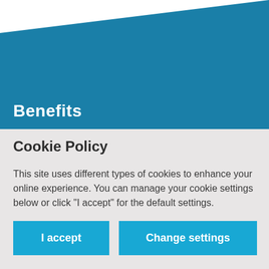[Figure (illustration): Teal/blue diagonal banner shape across the top of the page, forming a decorative header graphic with a white background behind it.]
Benefits
Cookie Policy
This site uses different types of cookies to enhance your online experience. You can manage your cookie settings below or click "I accept" for the default settings.
I accept
Change settings